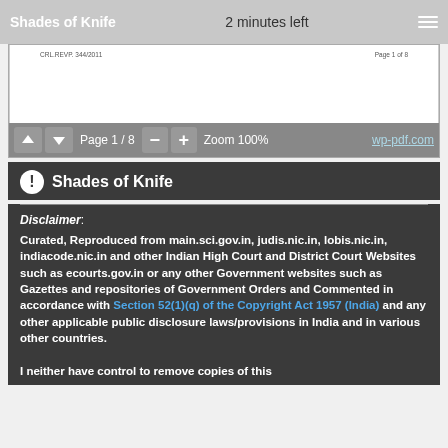Shades of Knife    2 minutes left
CRL.REVP. 344/2011    Page 1 of 8
Page 1 / 8    Zoom 100%    wp-pdf.com
Shades of Knife
Disclaimer:
Curated, Reproduced from main.sci.gov.in, judis.nic.in, lobis.nic.in, indiacode.nic.in and other Indian High Court and District Court Websites such as ecourts.gov.in or any other Government websites such as Gazettes and repositories of Government Orders and Commented in accordance with Section 52(1)(q) of the Copyright Act 1957 (India) and any other applicable public disclosure laws/provisions in India and in various other countries.
I neither have control to remove copies of this